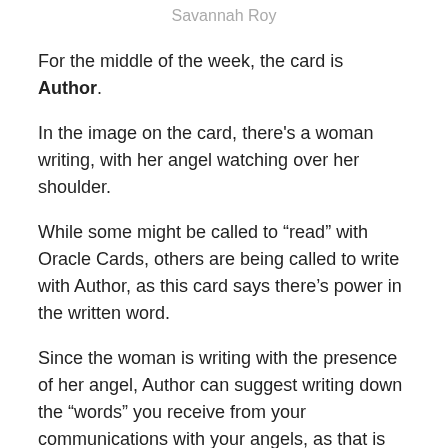Savannah Roy
For the middle of the week, the card is Author.
In the image on the card, there's a woman writing, with her angel watching over her shoulder.
While some might be called to “read” with Oracle Cards, others are being called to write with Author, as this card says there’s power in the written word.
Since the woman is writing with the presence of her angel, Author can suggest writing down the “words” you receive from your communications with your angels, as that is another way to receive direct divine guidance (like reading cards for yourself).
You may discover that you’re becoming a channel for the Divine, through the process of automatic writing (where